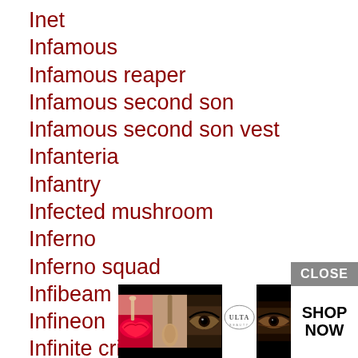Inet
Infamous
Infamous reaper
Infamous second son
Infamous second son vest
Infanteria
Infantry
Infected mushroom
Inferno
Inferno squad
Infibeam
Infineon
Infinite crisis
Infinite pics
Infinite warfare
Infiniti
Infiniti car
Infiniti
Infiniti
Infiniti
[Figure (screenshot): Advertisement overlay with CLOSE button and Ulta Beauty cosmetics ad strip showing lip, brush, eye, Ulta logo, eye, and SHOP NOW button]